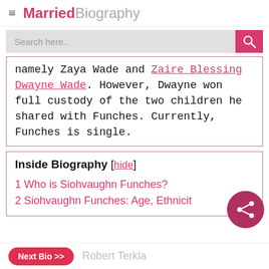≡ Married Biography
namely Zaya Wade and Zaire Blessing Dwayne Wade. However, Dwayne won full custody of the two children he shared with Funches. Currently, Funches is single.
Inside Biography [hide]
1 Who is Siohvaughn Funches?
2 Siohvaughn Funches: Age, Ethnicity
Next Bio >> Robert Terkla